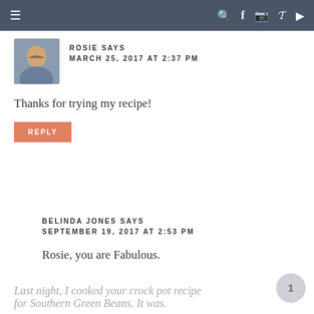≡  🔍 f 📷 p ▶
ROSIE SAYS
MARCH 25, 2017 AT 2:37 PM
Thanks for trying my recipe!
REPLY
BELINDA JONES SAYS
SEPTEMBER 19, 2017 AT 2:53 PM
Rosie, you are Fabulous.
Last night, I cooked your crock pot recipe for Southern Green Beans. It was.